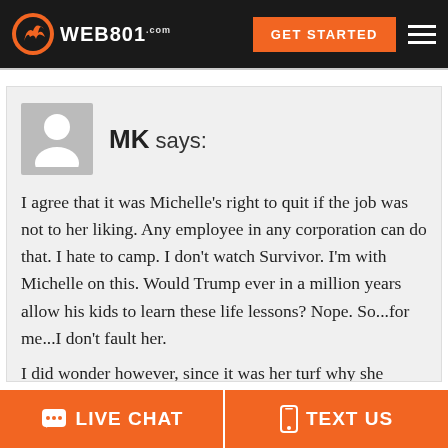WEB801.com | GET STARTED
MK says:
I agree that it was Michelle's right to quit if the job was not to her liking. Any employee in any corporation can do that. I hate to camp. I don't watch Survivor. I'm with Michelle on this. Would Trump ever in a million years allow his kids to learn these life lessons? Nope. So...for me...I don't fault her.
I did wonder however, since it was her turf why she
LIVE CHAT   TEXT US